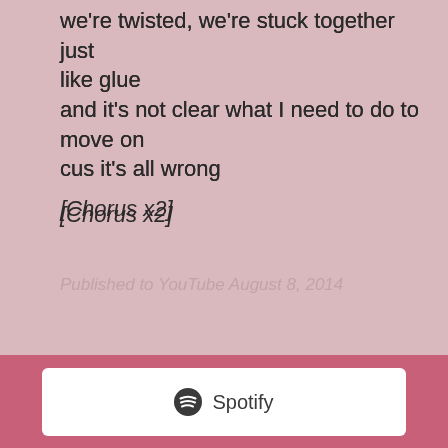we're twisted, we're stuck together just like glue
and it's not clear what I need to do to move on
cus it's all wrong
[Chorus x2]
Published to YouTube August 8, 2014
[Figure (logo): Spotify logo with circular icon and text 'Spotify' on white card background]